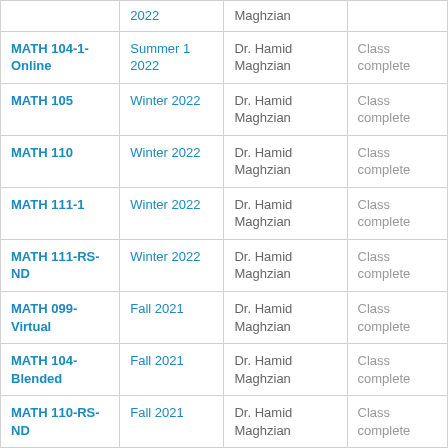| Course | Term | Instructor | Status |
| --- | --- | --- | --- |
|  | 2022 | Maghzian |  |
| MATH 104-1-Online | Summer 1 2022 | Dr. Hamid Maghzian | Class complete |
| MATH 105 | Winter 2022 | Dr. Hamid Maghzian | Class complete |
| MATH 110 | Winter 2022 | Dr. Hamid Maghzian | Class complete |
| MATH 111-1 | Winter 2022 | Dr. Hamid Maghzian | Class complete |
| MATH 111-RS-ND | Winter 2022 | Dr. Hamid Maghzian | Class complete |
| MATH 099-Virtual | Fall 2021 | Dr. Hamid Maghzian | Class complete |
| MATH 104-Blended | Fall 2021 | Dr. Hamid Maghzian | Class complete |
| MATH 110-RS-ND | Fall 2021 | Dr. Hamid Maghzian | Class complete |
| MATH 230- | Fall 2021 | Dr. Hamid | Class complete |